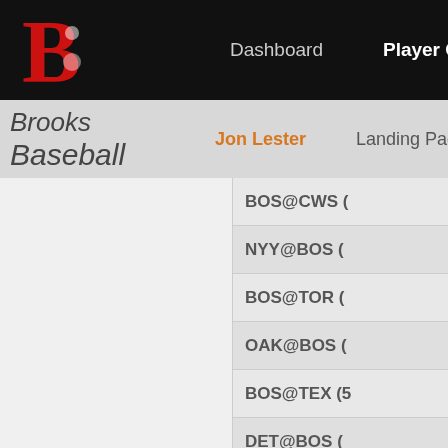Brooks Baseball – Dashboard | Player Cards | PITC
Jon Lester | Landing Page | Tabula
BOS@CWS (
NYY@BOS (
BOS@TOR (
OAK@BOS (
BOS@TEX (5
DET@BOS (
TOR@BOS (
BOS@ATL (5
TB@BOS (6
BOS@DET